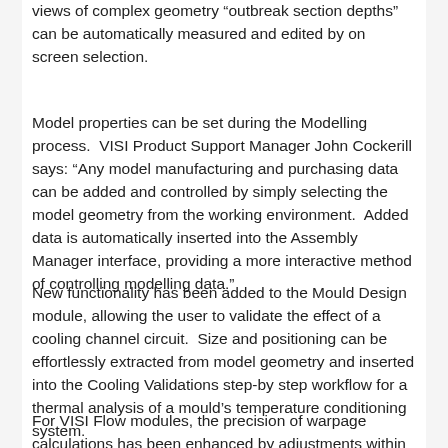views of complex geometry “outbreak section depths” can be automatically measured and edited by on screen selection.
Model properties can be set during the Modelling process.  VISI Product Support Manager John Cockerill says: “Any model manufacturing and purchasing data can be added and controlled by simply selecting the model geometry from the working environment.  Added data is automatically inserted into the Assembly Manager interface, providing a more interactive method of controlling modelling data.”
New functionality has been added to the Mould Design module, allowing the user to validate the effect of a cooling channel circuit.  Size and positioning can be effortlessly extracted from model geometry and inserted into the Cooling Validations step-by step workflow for a thermal analysis of a mould’s temperature conditioning system.
For VISI Flow modules, the precision of warpage calculations has been enhanced by adjustments within